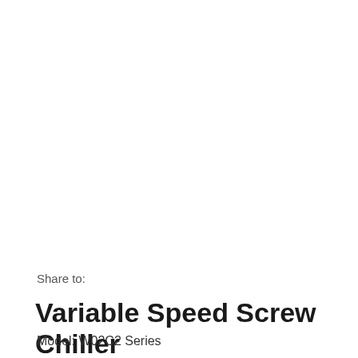Share to:
Variable Speed Screw Chiller
Model: W02C2 Series